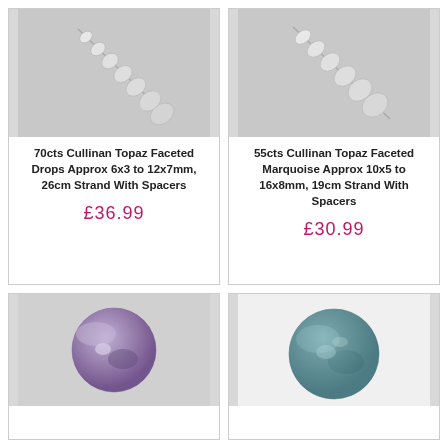[Figure (photo): Cullinan Topaz faceted drop beads on a strand, white/clear gemstones against grey background]
70cts Cullinan Topaz Faceted Drops Approx 6x3 to 12x7mm, 26cm Strand With Spacers
£36.99
[Figure (photo): Cullinan Topaz faceted marquoise beads on a strand, white/clear leaf-shaped gemstones against grey background]
55cts Cullinan Topaz Faceted Marquoise Approx 10x5 to 16x8mm, 19cm Strand With Spacers
£30.99
[Figure (photo): Round gemstone cabochon with purple and white mottled pattern against grey background]
[Figure (photo): Large round gemstone cabochon with blue-green and grey mottled pattern against white background]